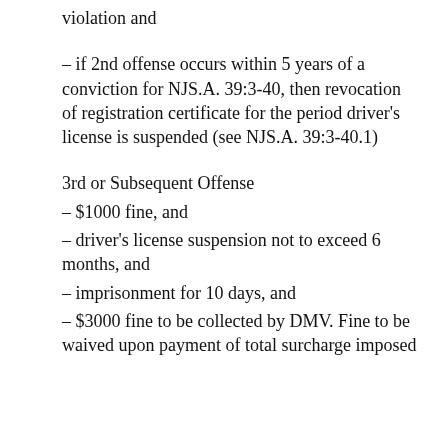violation and
– if 2nd offense occurs within 5 years of a conviction for NJS.A. 39:3-40, then revocation of registration certificate for the period driver's license is suspended (see NJS.A. 39:3-40.1)
3rd or Subsequent Offense
– $1000 fine, and
– driver's license suspension not to exceed 6 months, and
– imprisonment for 10 days, and
– $3000 fine to be collected by DMV. Fine to be waived upon payment of total surcharge imposed